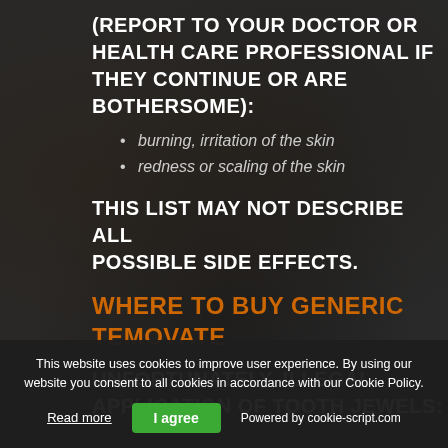(REPORT TO YOUR DOCTOR OR HEALTH CARE PROFESSIONAL IF THEY CONTINUE OR ARE BOTHERSOME):
burning, irritation of the skin
redness or scaling of the skin
THIS LIST MAY NOT DESCRIBE ALL POSSIBLE SIDE EFFECTS.
WHERE TO BUY GENERIC TEMOVATE
UNFORTUNATELY, ILLEGAL APPLICATION OF TOOTH JEWELS:
This website uses cookies to improve user experience. By using our website you consent to all cookies in accordance with our Cookie Policy.
Read more
I agree
Powered by cookie-script.com